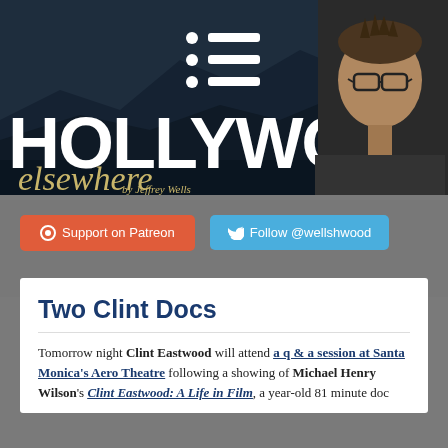[Figure (illustration): Hollywood Elsewhere website banner with dark mountain background, menu icon at top center, large white HOLLYWOOD text, gold italic 'elsewhere' text below, 'by Jeffrey Wells' byline, and portrait photo of Jeffrey Wells on the right side.]
Support on Patreon
Follow @wellshwood
Two Clint Docs
Tomorrow night Clint Eastwood will attend a q & a session at Santa Monica's Aero Theatre following a showing of Michael Henry Wilson's Clint Eastwood: A Life in Film, a year-old 81 minute doc